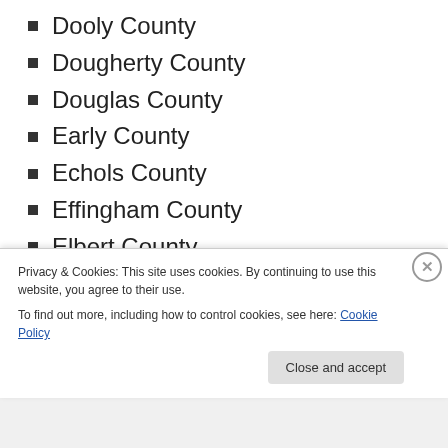Dooly County
Dougherty County
Douglas County
Early County
Echols County
Effingham County
Elbert County
Emanuel County
Evans County
Fannin County
Fayette County
Privacy & Cookies: This site uses cookies. By continuing to use this website, you agree to their use. To find out more, including how to control cookies, see here: Cookie Policy